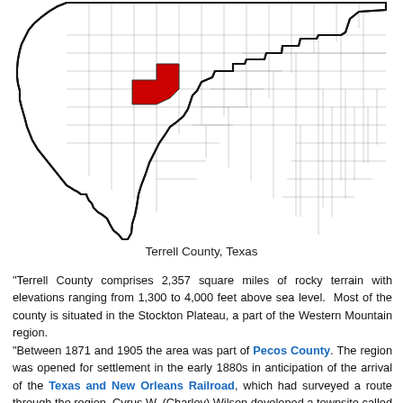[Figure (map): Map of Texas counties with Terrell County highlighted in red, located in southwest Texas.]
Terrell County, Texas
"Terrell County comprises 2,357 square miles of rocky terrain with elevations ranging from 1,300 to 4,000 feet above sea level. Most of the county is situated in the Stockton Plateau, a part of the Western Mountain region.
"Between 1871 and 1905 the area was part of Pecos County. The region was opened for settlement in the early 1880s in anticipation of the arrival of the Texas and New Orleans Railroad, which had surveyed a route through the region. Cyrus W. (Charley) Wilson developed a townsite called Strawbridge at a designated stop along